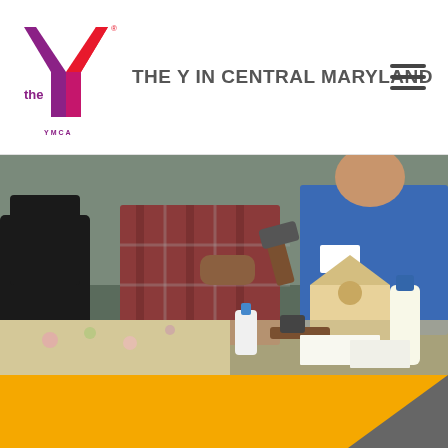[Figure (logo): YMCA 'The Y in Central Maryland' logo with Y graphic in red, purple, and magenta]
THE Y IN CENTRAL MARYLAND
[Figure (photo): Two people working together at a table, hammering a wooden birdhouse with wood glue bottles and tools visible]